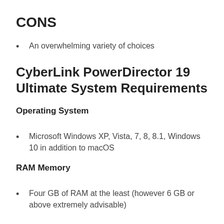CONS
An overwhelming variety of choices
CyberLink PowerDirector 19 Ultimate System Requirements
Operating System
Microsoft Windows XP, Vista, 7, 8, 8.1, Windows 10 in addition to macOS
RAM Memory
Four GB of RAM at the least (however 6 GB or above extremely advisable)
Graphics Processor (GPU)